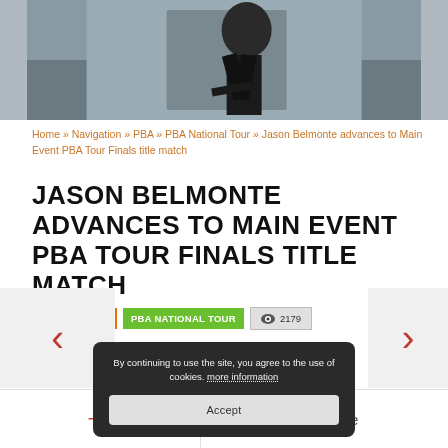[Figure (photo): Photo of a bowler (Jason Belmonte) mid-delivery, wearing dark athletic clothing with a gold logo, indoor venue background]
Home » Navigation » PBA » PBA National Tour » Jason Belmonte advances to Main Event PBA Tour Finals title match
JASON BELMONTE ADVANCES TO MAIN EVENT PBA TOUR FINALS TITLE MATCH
14 JUNE, 2017   PBA NATIONAL TOUR   👁 2179
Ads
By continuing to use the site, you agree to the use of cookies. more information
Accept